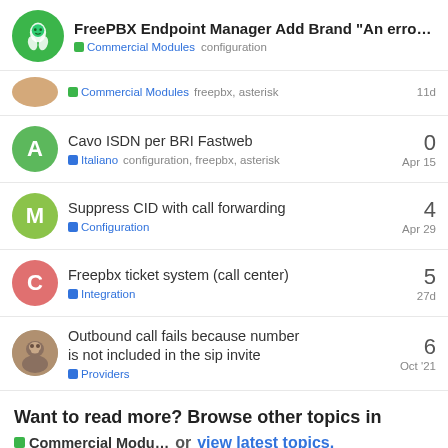FreePBX Endpoint Manager Add Brand "An erro... — Commercial Modules  configuration
Commercial Modules  freepbx, asterisk — 11d — (reply count cut off)
Cavo ISDN per BRI Fastweb — Italiano  configuration, freepbx, asterisk — 0 — Apr 15
Suppress CID with call forwarding — Configuration — 4 — Apr 29
Freepbx ticket system (call center) — Integration — 5 — 27d
Outbound call fails because number is not included in the sip invite — Providers — 6 — Oct '21
Want to read more? Browse other topics in Commercial Modu... or view latest topics.